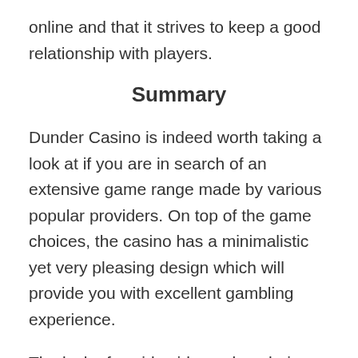online and that it strives to keep a good relationship with players.
Summary
Dunder Casino is indeed worth taking a look at if you are in search of an extensive game range made by various popular providers. On top of the game choices, the casino has a minimalistic yet very pleasing design which will provide you with excellent gambling experience.
The lack of a wide video poker choice, along with no bonus offers for existing players might deter some players, though. Nevertheless, the casino has a great reputation, and it has become one of the top gambling